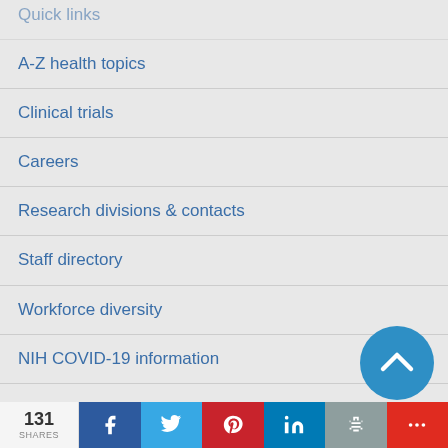A-Z health topics
Clinical trials
Careers
Research divisions & contacts
Staff directory
Workforce diversity
NIH COVID-19 information
[Figure (illustration): Blue circular back-to-top button with upward chevron arrow]
131 SHARES | Facebook | Twitter | Pinterest | LinkedIn | Print | More